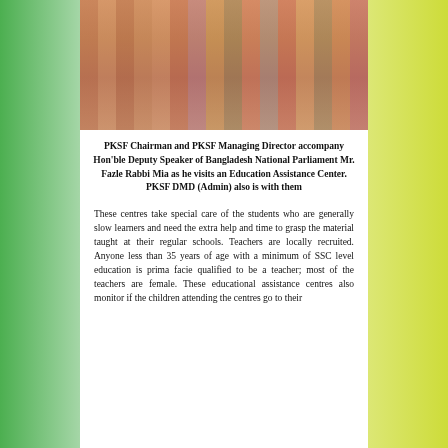[Figure (photo): Group of people including PKSF Chairman, PKSF Managing Director, and Hon'ble Deputy Speaker visiting an Education Assistance Center, with women in colorful traditional attire gathered in a large hall]
PKSF Chairman and PKSF Managing Director accompany Hon'ble Deputy Speaker of Bangladesh National Parliament Mr. Fazle Rabbi Mia as he visits an Education Assistance Center. PKSF DMD (Admin) also is with them
These centres take special care of the students who are generally slow learners and need the extra help and time to grasp the material taught at their regular schools. Teachers are locally recruited. Anyone less than 35 years of age with a minimum of SSC level education is prima facie qualified to be a teacher; most of the teachers are female. These educational assistance centres also monitor if the children attending the centres go to their